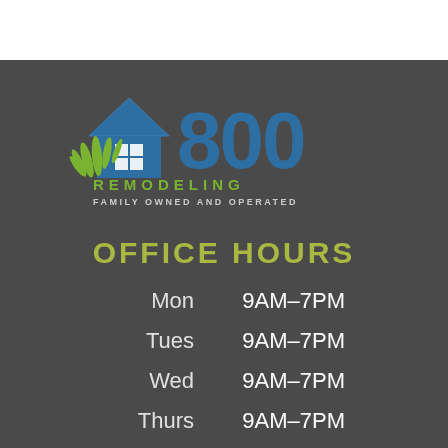[Figure (logo): 800 Remodeling logo with blue house icon, green grass/plants, large blue 800 text, REMODELING in olive/green letters, FAMILY OWNED AND OPERATED subtitle]
OFFICE HOURS
| Day | Hours |
| --- | --- |
| Mon | 9AM–7PM |
| Tues | 9AM–7PM |
| Wed | 9AM–7PM |
| Thurs | 9AM–7PM |